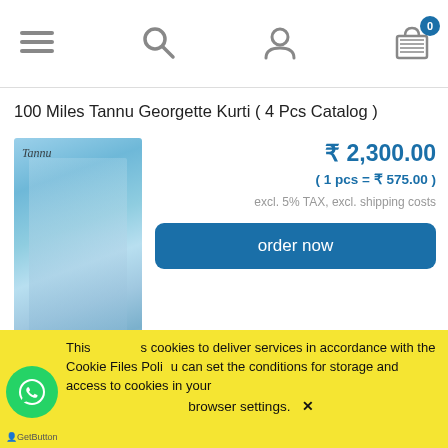Navigation bar with menu, search, account, and cart (0 items) icons
100 Miles Tannu Georgette Kurti ( 4 Pcs Catalog )
[Figure (photo): Product photo of a woman wearing a blue floral georgette kurti on steps, with 'Tannu' watermark text]
₹ 2,300.00
( 1 pcs = ₹ 575.00 )
excl. 5% TAX, excl. shipping costs
order now
100 Miles Sarah Cotton Kurtis ( 4 Pcs Catalog )
[Figure (photo): Partial product photo of a woman wearing a cotton kurti with 'Sarah' watermark]
₹ 1,660.00
This site uses cookies to deliver services in accordance with the Cookie Files Policy. You can set the conditions for storage and access to cookies in your browser settings. ✕